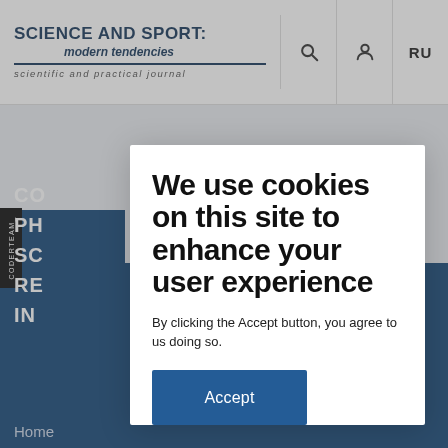SCIENCE AND SPORT: modern tendencies — scientific and practical journal
[Figure (screenshot): Website cookie consent modal dialog overlaying the Science and Sport: modern tendencies journal homepage. The modal contains heading 'We use cookies on this site to enhance your user experience', body text 'By clicking the Accept button, you agree to us doing so.', and a blue Accept button.]
We use cookies on this site to enhance your user experience
By clicking the Accept button, you agree to us doing so.